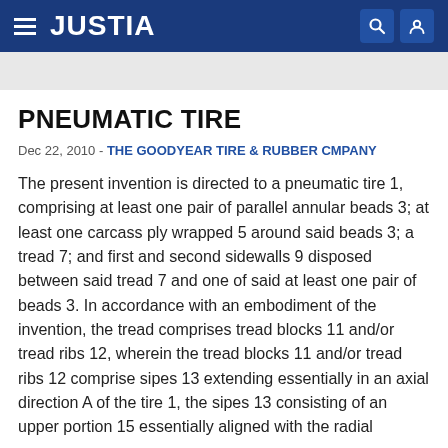JUSTIA
PNEUMATIC TIRE
Dec 22, 2010 - THE GOODYEAR TIRE & RUBBER CMPANY
The present invention is directed to a pneumatic tire 1, comprising at least one pair of parallel annular beads 3; at least one carcass ply wrapped 5 around said beads 3; a tread 7; and first and second sidewalls 9 disposed between said tread 7 and one of said at least one pair of beads 3. In accordance with an embodiment of the invention, the tread comprises tread blocks 11 and/or tread ribs 12, wherein the tread blocks 11 and/or tread ribs 12 comprise sipes 13 extending essentially in an axial direction A of the tire 1, the sipes 13 consisting of an upper portion 15 essentially aligned with the radial